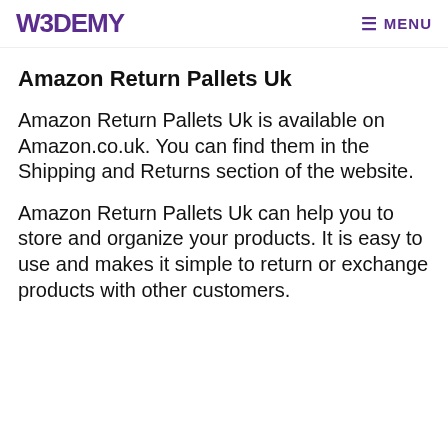W3DEMY  MENU
Amazon Return Pallets Uk
Amazon Return Pallets Uk is available on Amazon.co.uk. You can find them in the Shipping and Returns section of the website.
Amazon Return Pallets Uk can help you to store and organize your products. It is easy to use and makes it simple to return or exchange products with other customers.